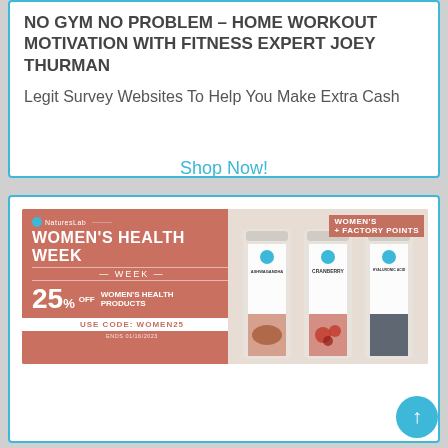NO GYM NO PROBLEM – HOME WORKOUT MOTIVATION WITH FITNESS EXPERT JOEY THURMAN
Legit Survey Websites To Help You Make Extra Cash
[Figure (infographic): NaturesLab Women's Health Week advertisement banner showing 25% off women's health products with code WOMEN25. Features supplement bottles for Ashwagandha, Cranberry, and Hyaluronic Acid.]
Shop Now!